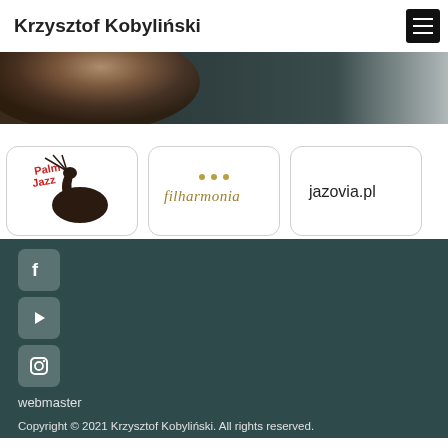Krzysztof Kobyliński
[Figure (photo): Hero banner with a partial face photo, dark tones fading to grey on the right]
[Figure (logo): Palm Jazz logo — red stylized text 'Palm Jazz' with a black swan silhouette]
[Figure (logo): Filharmonia logo — gold serif text 'filharmonia' with decorative dots above]
[Figure (logo): jazovia.pl logo — minimal black text on white]
[Figure (logo): Facebook social media icon — grey rounded square with white F]
[Figure (logo): YouTube social media icon — grey rounded square with white play triangle]
[Figure (logo): Instagram social media icon — grey rounded square with camera icon]
webmaster
Copyright © 2021 Krzysztof Kobyliński. All rights reserved.